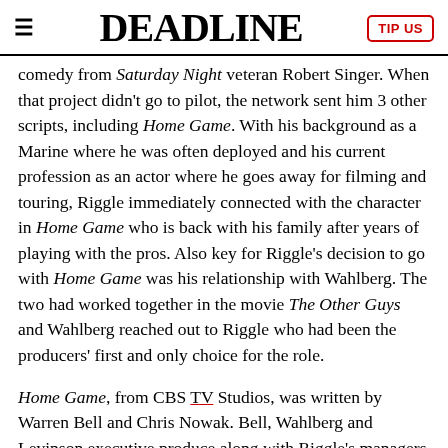≡  DEADLINE  TIP US
comedy from Saturday Night veteran Robert Singer. When that project didn't go to pilot, the network sent him 3 other scripts, including Home Game. With his background as a Marine where he was often deployed and his current profession as an actor where he goes away for filming and touring, Riggle immediately connected with the character in Home Game who is back with his family after years of playing with the pros. Also key for Riggle's decision to go with Home Game was his relationship with Wahlberg. The two had worked together in the movie The Other Guys and Wahlberg reached out to Riggle who had been the producers' first and only choice for the role.
Home Game, from CBS TV Studios, was written by Warren Bell and Chris Nowak. Bell, Wahlberg and Levinson executive produce along with Riggle's managers Peter Principato and Paul Young, with Nowak serving as a co-executive producer and Riggle and Leverage's Peter Sussman as producers. Also serving as producers … NFL players and … Sable … his wife Lisa … his …